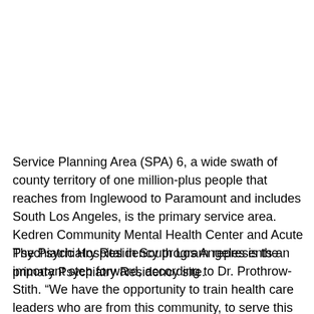Service Planning Area (SPA) 6, a wide swath of county territory of one million-plus people that reaches from Inglewood to Paramount and includes South Los Angeles, is the primary service area. Kedren Community Mental Health Center and Acute Psychiatric Hospital in South Los Angeles is the primary Psychiatry Residency site.
The Psychiatry Residency program represents an important step forward, according to Dr. Prothrow-Stith. “We have the opportunity to train health care leaders who are from this community, to serve this community. We know from experience that when you train as a